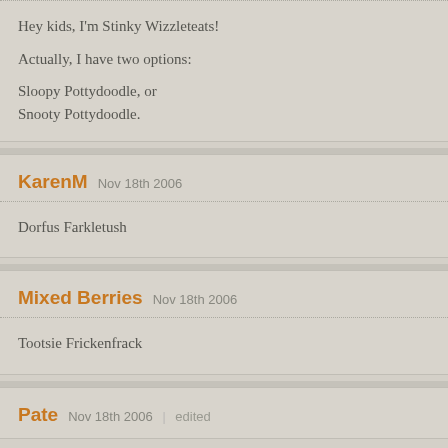Hey kids, I'm Stinky Wizzleteats!

Actually, I have two options:

Sloopy Pottydoodle, or
Snooty Pottydoodle.
KarenM  Nov 18th 2006
Dorfus Farkletush
Mixed Berries  Nov 18th 2006
Tootsie Frickenfrack
Pate  Nov 18th 2006  | edited